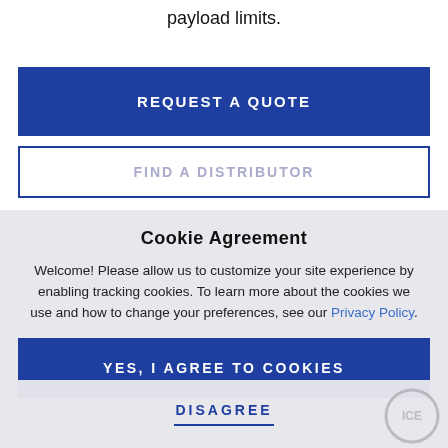payload limits.
REQUEST A QUOTE
FIND A DISTRIBUTOR
Cookie Agreement
Welcome! Please allow us to customize your site experience by enabling tracking cookies. To learn more about the cookies we use and how to change your preferences, see our Privacy Policy.
YES, I AGREE TO COOKIES
DISAGREE